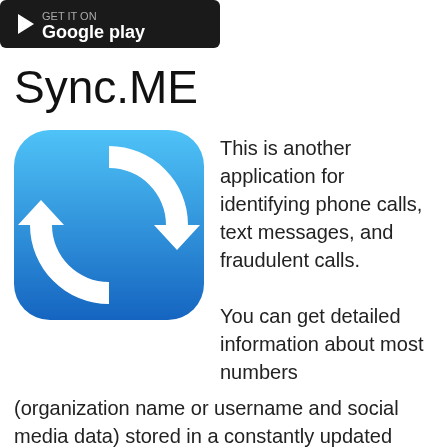[Figure (logo): Google Play store badge/banner — black rounded rectangle with Google Play logo and text]
Sync.ME
[Figure (logo): Sync.ME app icon: rounded blue square with gradient (light blue top to dark blue bottom) and two white circular arrows forming a sync/refresh symbol]
This is another application for identifying phone calls, text messages, and fraudulent calls.

You can get detailed information about most numbers (organization name or username and social media data) stored in a constantly updated database, any of them can be easily blocked